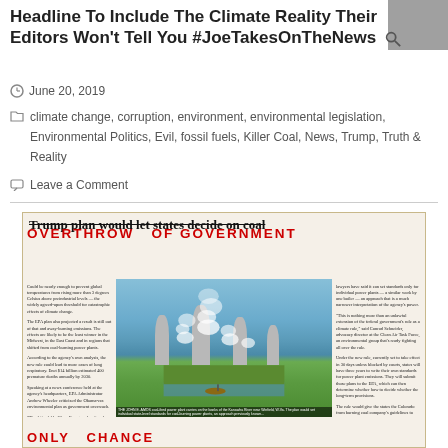Headline To Include The Climate Reality Their Editors Won't Tell You #JoeTakesOnTheNews
June 20, 2019
climate change, corruption, environment, environmental legislation, Environmental Politics, Evil, fossil fuels, Killer Coal, News, Trump, Truth & Reality
Leave a Comment
[Figure (photo): Newspaper clipping showing a coal power plant with cooling towers emitting smoke, with the original headline 'Trump plan would let states decide on coal' crossed out and overlaid with 'OVERTHROW OF GOVERNMENT' in red, and at the bottom 'ONLY CHANCE' in red graffiti-style text]